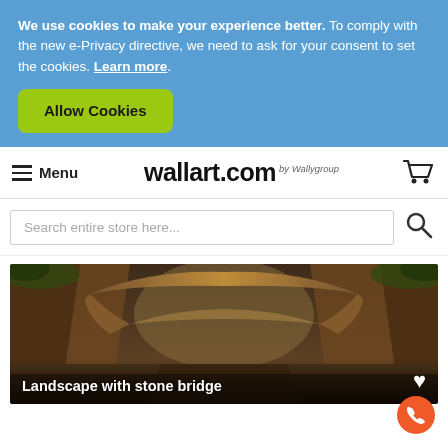We use cookies to make your experience better. To comply with the new e-Privacy directive, we need to ask for your consent to set the cookies. Learn more.
Allow Cookies
Menu | wallart.com by Wallygroup
Search entire store here...
[Figure (photo): Landscape with stone bridge - a rocky canyon landscape photo with a natural stone arch bridge, warm brown and orange tones]
Landscape with stone bridge